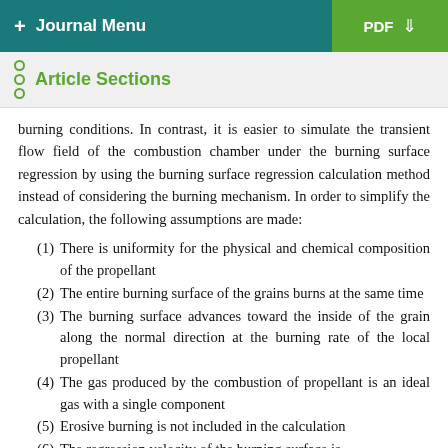+ Journal Menu | PDF ↓
Article Sections
burning conditions. In contrast, it is easier to simulate the transient flow field of the combustion chamber under the burning surface regression by using the burning surface regression calculation method instead of considering the burning mechanism. In order to simplify the calculation, the following assumptions are made:
(1) There is uniformity for the physical and chemical composition of the propellant
(2) The entire burning surface of the grains burns at the same time
(3) The burning surface advances toward the inside of the grain along the normal direction at the burning rate of the local propellant
(4) The gas produced by the combustion of propellant is an ideal gas with a single component
(5) Erosive burning is not included in the calculation
(6) The regression velocity of the burning surface is